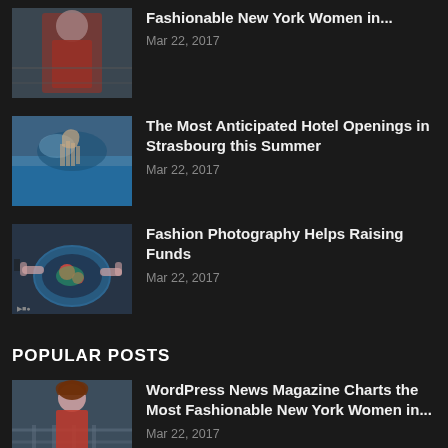Fashionable New York Women in...
Mar 22, 2017
The Most Anticipated Hotel Openings in Strasbourg this Summer
Mar 22, 2017
Fashion Photography Helps Raising Funds
Mar 22, 2017
POPULAR POSTS
WordPress News Magazine Charts the Most Fashionable New York Women in...
Mar 22, 2017
Basketball Stars Face Off in Ultimate Playoff